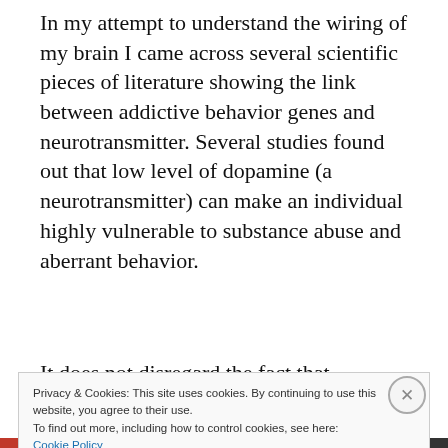In my attempt to understand the wiring of my brain I came across several scientific pieces of literature showing the link between addictive behavior genes and neurotransmitter. Several studies found out that low level of dopamine (a neurotransmitter) can make an individual highly vulnerable to substance abuse and aberrant behavior.
It does not disregard the fact that vulnerability
Privacy & Cookies: This site uses cookies. By continuing to use this website, you agree to their use.
To find out more, including how to control cookies, see here: Cookie Policy